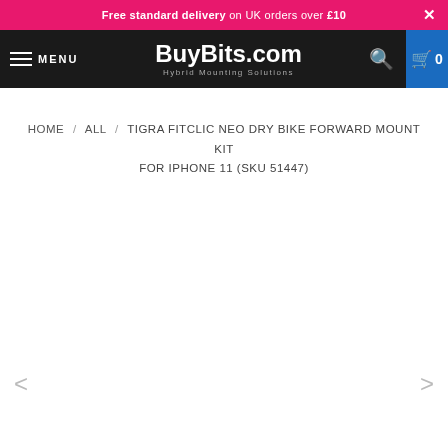Free standard delivery on UK orders over £10
[Figure (logo): BuyBits.com Hybrid Mounting Solutions logo on black navigation bar with menu button, search icon, and cart]
HOME / ALL / TIGRA FITCLIC NEO DRY BIKE FORWARD MOUNT KIT FOR IPHONE 11 (SKU 51447)